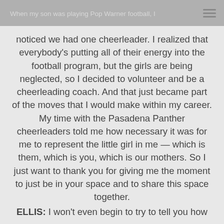When my son was playing Pop Warner football, I noticed we had one cheerleader.
noticed we had one cheerleader. I realized that everybody's putting all of their energy into the football program, but the girls are being neglected, so I decided to volunteer and be a cheerleading coach. And that just became part of the moves that I would make within my career. My time with the Pasadena Panther cheerleaders told me how necessary it was for me to represent the little girl in me — which is them, which is you, which is our mothers. So I just want to thank you for giving me the moment to just be in your space and to share this space together.
ELLIS: I won't even begin to try to tell you how